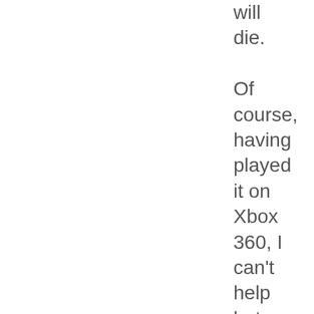will die.

Of course, having played it on Xbox 360, I can't help but think “God I wish I had a PC worth playing PC games on!” The mods for